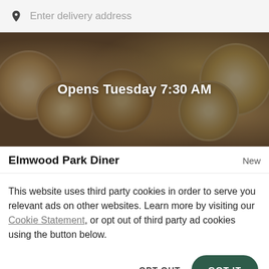Enter delivery address
[Figure (photo): Food delivery app hero image showing overhead view of waffle plates and breakfast foods on a dark table, with semi-transparent dark overlay and text 'Opens Tuesday 7:30 AM']
Elmwood Park Diner
New
This website uses third party cookies in order to serve you relevant ads on other websites. Learn more by visiting our Cookie Statement, or opt out of third party ad cookies using the button below.
OPT OUT
GOT IT